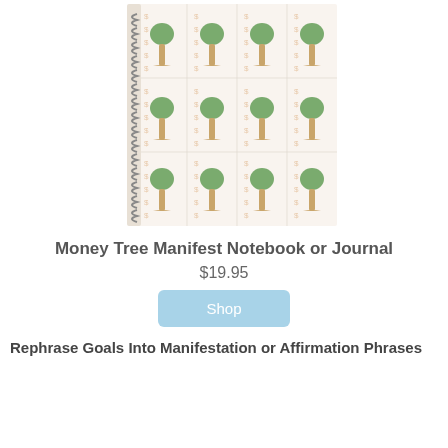[Figure (illustration): A spiral-bound notebook with a cover pattern featuring illustrated money trees (brown trunks with green foliage) and dollar signs arranged in repeating columns on a white/cream background. The spiral binding is visible on the left side.]
Money Tree Manifest Notebook or Journal
$19.95
Shop
Rephrase Goals Into Manifestation or Affirmation Phrases